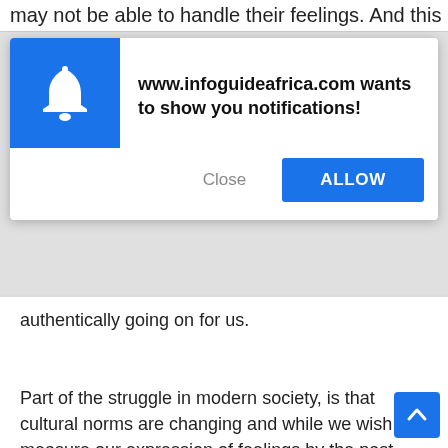may not be able to handle their feelings. And this
[Figure (screenshot): Browser notification permission popup from www.infoguideafrica.com with a blue bell icon, message 'www.infoguideafrica.com wants to show you notifications!', a Close button, and a blue ALLOW button]
authentically going on for us.
Part of the struggle in modern society, is that cultural norms are changing and while we wish to measure our expression of feelings by the past cultural norms - they have shifted to a degree where we are no longer sure of how to be "respectful" of others while also being authentic and expressing our individual needs. In the past, people's roles were pretty clear, but now there's so much more freedom about how